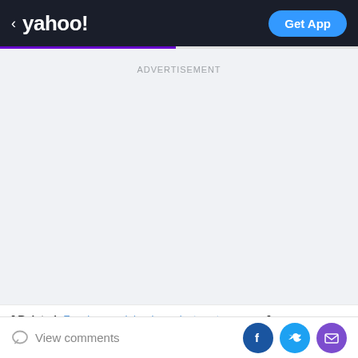< yahoo! | Get App
ADVERTISEMENT
[ Related: Fencing mask leads coolest costume race ]
View comments | Facebook | Twitter | Mail